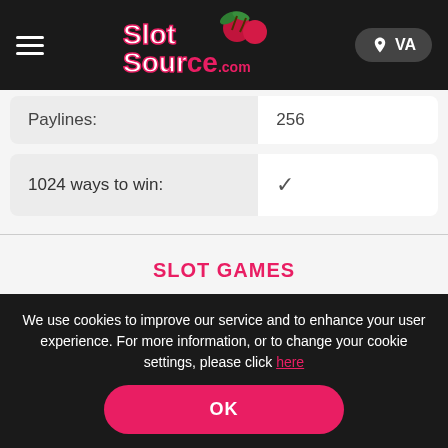SlotSource.com — VA
|  |  |
| --- | --- |
| Paylines: | 256 |
| 1024 ways to win: | ✓ |
SLOT GAMES
FREE SLOTS
We use cookies to improve our service and to enhance your user experience. For more information, or to change your cookie settings, please click here
OK